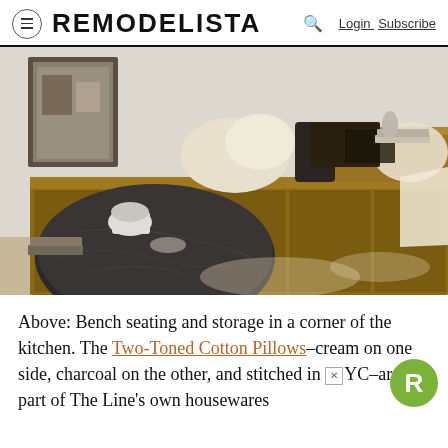REMODELISTA  Login Subscribe
[Figure (photo): Interior photo of a corner bench seating area with wood storage cabinets, cream and dark pillows, a round dark marble coffee table, and warm natural light]
Above: Bench seating and storage in a corner of the kitchen. The Two-Toned Cotton Pillows–cream on one side, charcoal on the other, and stitched in NYC–are part of The Line's own housewares